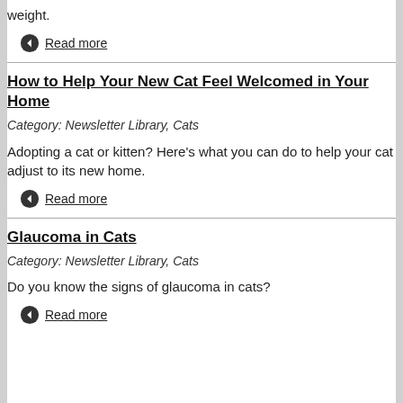weight.
Read more
How to Help Your New Cat Feel Welcomed in Your Home
Category: Newsletter Library, Cats
Adopting a cat or kitten? Here's what you can do to help your cat adjust to its new home.
Read more
Glaucoma in Cats
Category: Newsletter Library, Cats
Do you know the signs of glaucoma in cats?
Read more